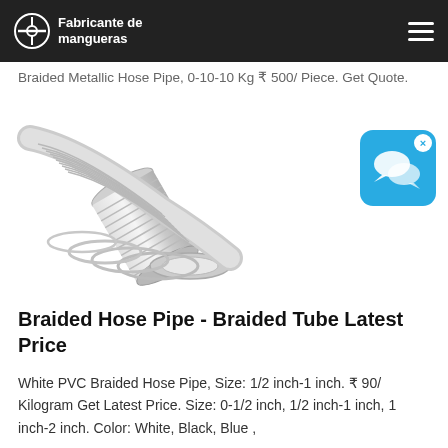Fabricante de mangueras
Braided Metallic Hose Pipe, 0-10-10 Kg ₹ 500/ Piece. Get Quote.
[Figure (photo): White spiral/braided hose pipe coil, shown diagonally on white background]
[Figure (illustration): Blue chat/messenger app widget icon with speech bubbles and X close button]
Braided Hose Pipe - Braided Tube Latest Price
White PVC Braided Hose Pipe, Size: 1/2 inch-1 inch. ₹ 90/ Kilogram Get Latest Price. Size: 0-1/2 inch, 1/2 inch-1 inch, 1 inch-2 inch. Color: White, Black, Blue ,